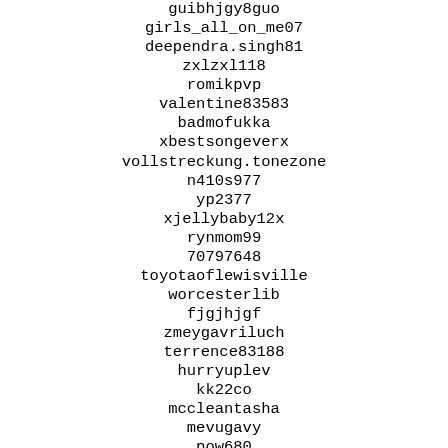guibhjgy8guo
girls_all_on_me07
deependra.singh81
zxlzxl118
romikpvp
valentine83583
badmofukka
xbestsongeverx
vollstreckung.tonezone
n410s977
yp2377
xjellybaby12x
rynmom99
70797648
toyotaoflewisville
worcesterlib
fjgjhjgf
zmeygavriluch
terrence83188
hurryuplev
kk22co
mccleantasha
mevugavy
pow680
zanicn
thorndike65028
jenngbat
tiler90533
desyayuw
blablabla799